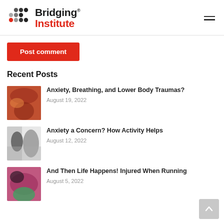Bridging Institute
Post comment
Recent Posts
Anxiety, Breathing, and Lower Body Traumas? — August 19, 2022
Anxiety a Concern? How Activity Helps — August 12, 2022
And Then Life Happens! Injured When Running — August 5, 2022